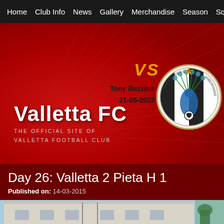Home | Club Info | News | Gallery | Merchandise | Season | Sq
[Figure (screenshot): Valletta FC website hero banner with red background, sunburst pattern, VS match announcement for Tony Bezzina Stadium 21-08-2022 18:30, Hibernians FC badge on right, Valletta FC logo and subtitle at bottom left]
Day 26: Valletta 2 Pieta H 1
Published on: 14-03-2015
[Figure (photo): Exterior photo of Tony Bezzina Stadium building, white/grey facade with windows, flagpoles in foreground, taken on a clear day]